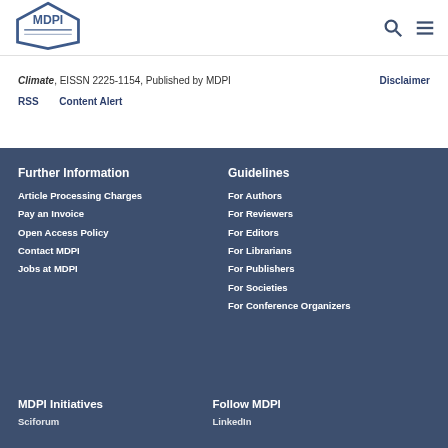[Figure (logo): MDPI hexagon logo]
Climate, EISSN 2225-1154, Published by MDPI   Disclaimer
RSS   Content Alert
Further Information
Article Processing Charges
Pay an Invoice
Open Access Policy
Contact MDPI
Jobs at MDPI
Guidelines
For Authors
For Reviewers
For Editors
For Librarians
For Publishers
For Societies
For Conference Organizers
MDPI Initiatives
Follow MDPI
Sciforum
LinkedIn